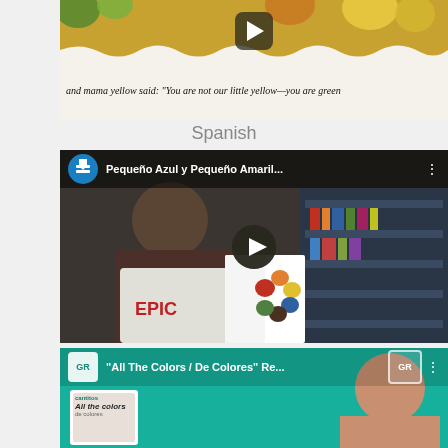[Figure (screenshot): Video thumbnail showing colorful book page with text 'and mama yellow said: You are not our little yellow—you are green' with play button overlay]
Spanish
[Figure (screenshot): YouTube video thumbnail for 'Pequeño Azul y Pequeño Amaril...' showing a person holding a colorful book in a library, with play button overlay and channel logo]
[Figure (screenshot): YouTube video thumbnail for 'All The Colors / De Colores Re...' showing a woman and a book cover on teal background with GR channel logo]